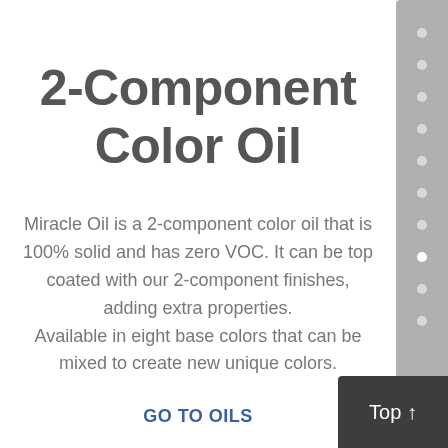2-Component Color Oil
Miracle Oil is a 2-component color oil that is 100% solid and has zero VOC. It can be top coated with our 2-component finishes, adding extra properties. Available in eight base colors that can be mixed to create new unique colors.
GO TO OILS